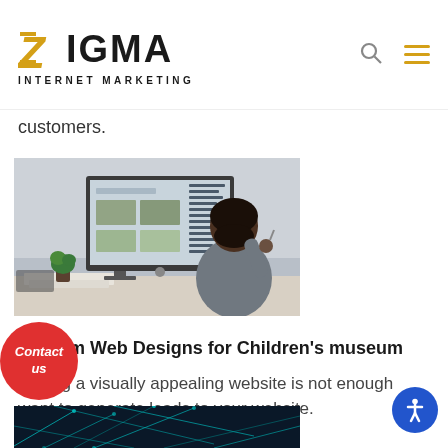ZIGMA INTERNET MARKETING
customers.
[Figure (photo): Woman sitting at a desk working on a large computer monitor, viewed from behind, in an office setting.]
Custom Web Designs for Children's museum
Having a visually appealing website is not enough want to generate leads to your website.